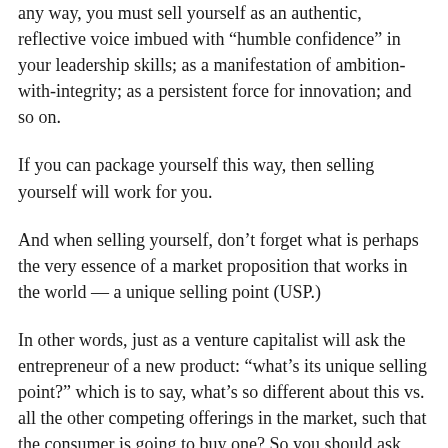any way, you must sell yourself as an authentic, reflective voice imbued with “homble confidence” in your leadership skills; as a manifestation of ambition-with-integrity; as a persistent force for innovation; and so on.
If you can package yourself this way, then selling yourself will work for you.
And when selling yourself, don’t forget what is perhaps the very essence of a market proposition that works in the world — a unique selling point (USP.)
In other words, just as a venture capitalist will ask the entrepreneur of a new product: “what’s its unique selling point?” which is to say, what’s so different about this vs. all the other competing offerings in the market, such that the consumer is going to buy one? So you should ask yourself: “what’s my unique selling point for elite MBA admissions?” What is going to make Adcom pick me?